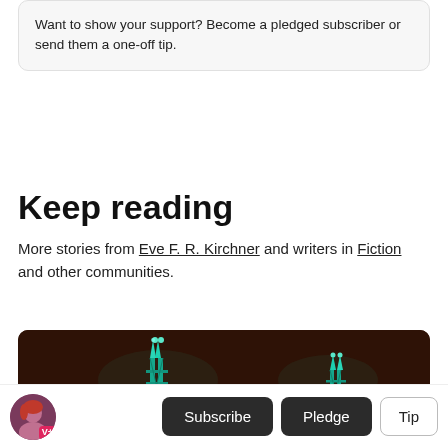Want to show your support? Become a pledged subscriber or send them a one-off tip.
Keep reading
More stories from Eve F. R. Kirchner and writers in Fiction and other communities.
[Figure (photo): Night photo of illuminated bridge towers glowing teal/green/blue against a dark reddish-brown night sky.]
Subscribe  Pledge  Tip